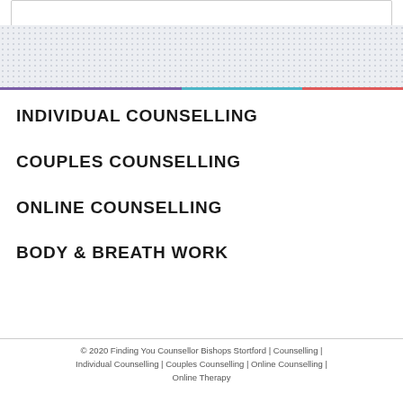INDIVIDUAL COUNSELLING
COUPLES COUNSELLING
ONLINE COUNSELLING
BODY & BREATH WORK
© 2020 Finding You Counsellor Bishops Stortford | Counselling | Individual Counselling | Couples Counselling | Online Counselling | Online Therapy